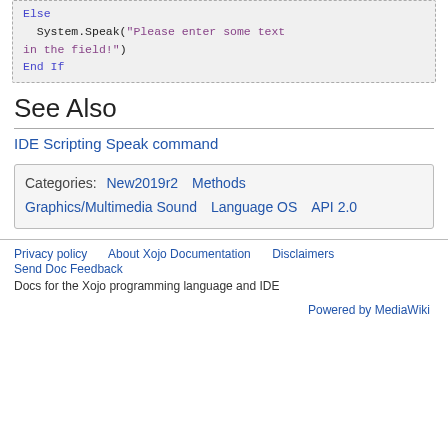Else
  System.Speak("Please enter some text in the field!")
End If
See Also
IDE Scripting Speak command
Categories: New2019r2   Methods   Graphics/Multimedia Sound   Language OS   API 2.0
Privacy policy   About Xojo Documentation   Disclaimers   Send Doc Feedback
Docs for the Xojo programming language and IDE
Powered by MediaWiki